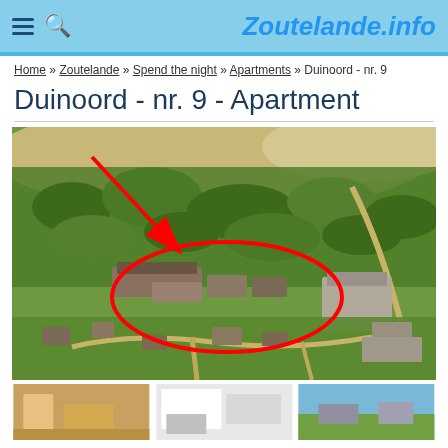Zoutelande.info
Home » Zoutelande » Spend the night » Apartments » Duinoord - nr. 9
Duinoord - nr. 9 - Apartment
[Figure (photo): Aerial drone photograph of Zoutelande showing a residential area surrounded by trees and dunes. A large red ellipse is drawn around an apartment complex (Duinoord nr. 9) and a red arrow points down to it from the upper left.]
[Figure (photo): Thumbnail interior photo 1]
[Figure (photo): Thumbnail interior photo 2]
[Figure (photo): Thumbnail interior photo 3]